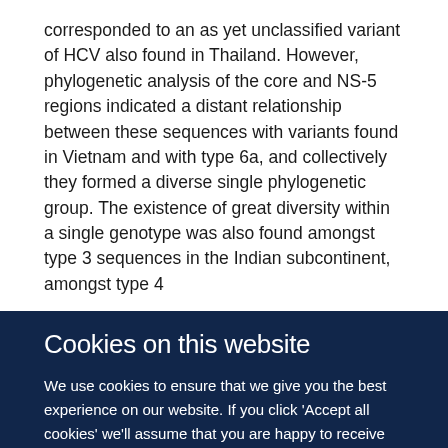corresponded to an as yet unclassified variant of HCV also found in Thailand. However, phylogenetic analysis of the core and NS-5 regions indicated a distant relationship between these sequences with variants found in Vietnam and with type 6a, and collectively they formed a diverse single phylogenetic group. The existence of great diversity within a single genotype was also found amongst type 3 sequences in the Indian subcontinent, amongst type 4
Cookies on this website
We use cookies to ensure that we give you the best experience on our website. If you click 'Accept all cookies' we'll assume that you are happy to receive all cookies and you won't see this message again. If you click 'Reject all non-essential cookies' only necessary cookies providing core functionality such as security, network management, and accessibility will be enabled. Click 'Find out more' for information on how to change your cookie settings.